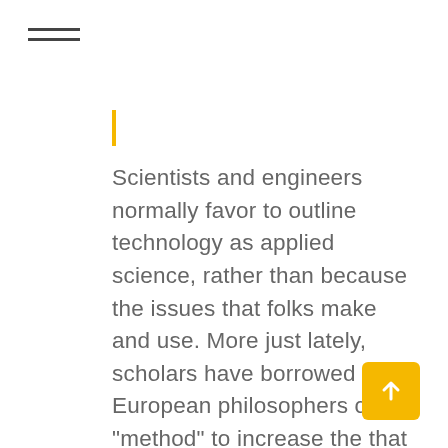[Figure (other): Hamburger menu icon with two horizontal lines]
[Figure (other): Vertical yellow accent bar]
Scientists and engineers normally favor to outline technology as applied science, rather than because the issues that folks make and use. More just lately, scholars have borrowed from European philosophers of “method” to increase the that means of technology to varied forms of instrumental purpose, as in Foucault’s work on technologies of the self . The greatest short-term positive aspects will come from retrofitting superior communications and management functionality to today’s industrial
[Figure (other): Yellow scroll-to-top button with upward arrow icon]